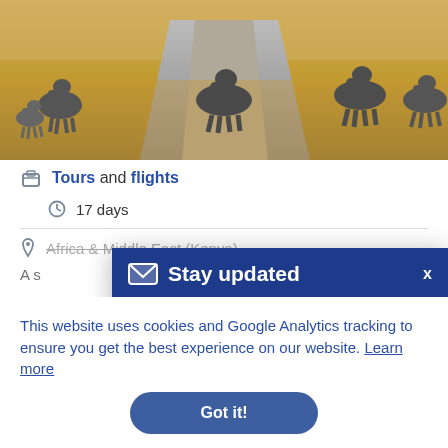[Figure (photo): Elephants crossing a dirt road on an African savanna, with golden dry grass in the background.]
Tours and flights
17 days
Africa & Middle East (Kenya)
A s
[Figure (screenshot): Stay updated modal popup with email subscription form. Header: Stay updated. Body: Be the first to hear about our latest offers and promotions. Input field and SUBSCRIBE button. View our Privacy Policy link.]
This website uses cookies and Google Analytics tracking to ensure you get the best experience on our website. Learn more
Got it!